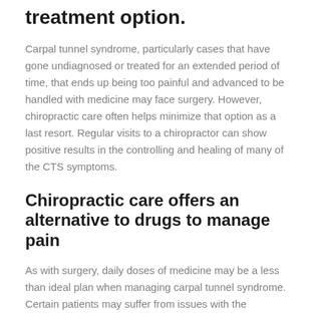treatment option.
Carpal tunnel syndrome, particularly cases that have gone undiagnosed or treated for an extended period of time, that ends up being too painful and advanced to be handled with medicine may face surgery. However, chiropractic care often helps minimize that option as a last resort. Regular visits to a chiropractor can show positive results in the controlling and healing of many of the CTS symptoms.
Chiropractic care offers an alternative to drugs to manage pain
As with surgery, daily doses of medicine may be a less than ideal plan when managing carpal tunnel syndrome. Certain patients may suffer from issues with the medicine, CTS medicines may conflict with other medication, or they may simply not want to take daily medications.